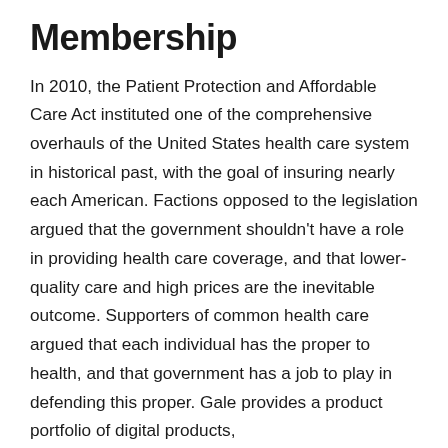Membership
In 2010, the Patient Protection and Affordable Care Act instituted one of the comprehensive overhauls of the United States health care system in historical past, with the goal of insuring nearly each American. Factions opposed to the legislation argued that the government shouldn't have a role in providing health care coverage, and that lower-quality care and high prices are the inevitable outcome. Supporters of common health care argued that each individual has the proper to health, and that government has a job to play in defending this proper. Gale provides a product portfolio of digital products, includingdatabases,main sources, andeBooks, to support the research of health points. In the Kimberley area of Western Australia, Aboriginal youngsters experience six occasions the speed of untreated dental decay than non-Aboriginal kids. Access to dental care is challenged by the availability and appropriate supply of